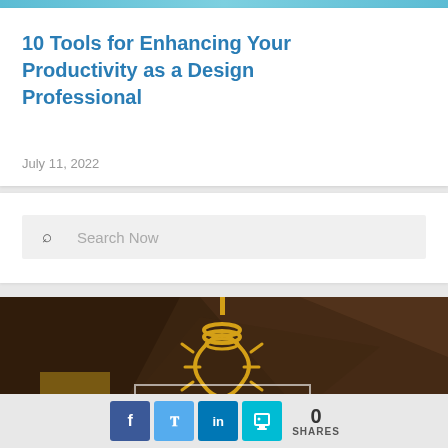10 Tools for Enhancing Your Productivity as a Design Professional
July 11, 2022
Search Now
[Figure (illustration): Illustration of a glowing yellow lightbulb shaped as a noose/loop hanging from a cord, on a dark brown geometric background, representing creative ideas for design professionals.]
0 SHARES